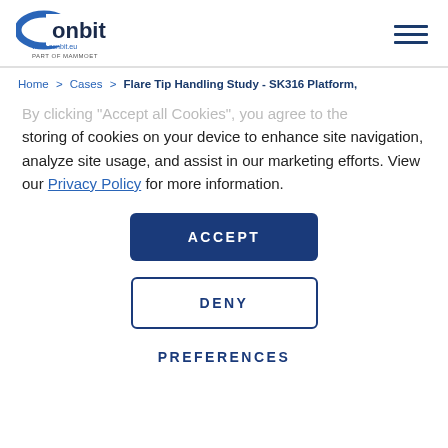[Figure (logo): Conbit logo with www.conbit.eu and 'PART OF MAMMOET' text]
Home > Cases > Flare Tip Handling Study - SK316 Platform,
By clicking "Accept all Cookies", you agree to the storing of cookies on your device to enhance site navigation, analyze site usage, and assist in our marketing efforts. View our Privacy Policy for more information.
ACCEPT
DENY
PREFERENCES